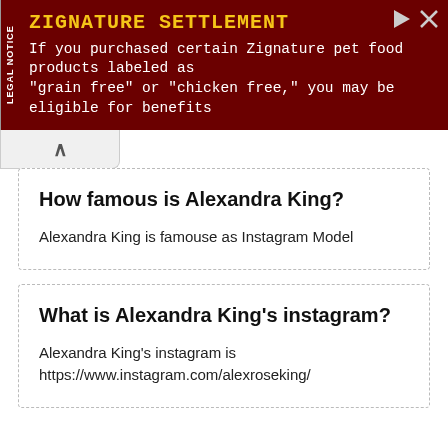[Figure (screenshot): Advertisement banner with dark red background. Title 'ZIGNATURE SETTLEMENT' in yellow monospace font. Text: 'If you purchased certain Zignature pet food products labeled as "grain free" or "chicken free," you may be eligible for benefits'. Has 'LEGAL NOTICE' tab on left side.]
How famous is Alexandra King?
Alexandra King is famouse as Instagram Model
What is Alexandra King's instagram?
Alexandra King's instagram is https://www.instagram.com/alexroseking/